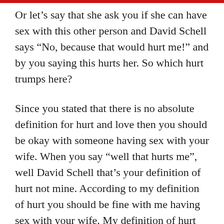Or let’s say that she ask you if she can have sex with this other person and David Schell says “No, because that would hurt me!” and by you saying this hurts her. So which hurt trumps here?
Since you stated that there is no absolute definition for hurt and love then you should be okay with someone having sex with your wife. When you say “well that hurts me”, well David Schell that’s your definition of hurt not mine. According to my definition of hurt you should be fine with me having sex with your wife. My definition of hurt does not include having sex with a person’s wife as a hurtful action.